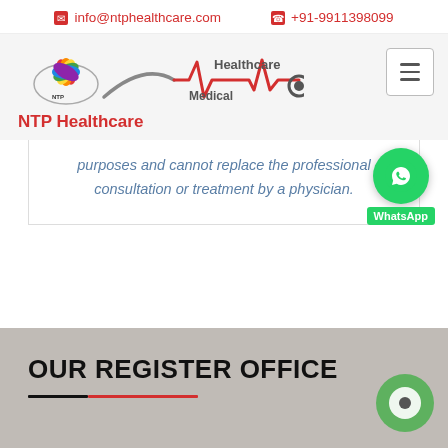info@ntphealthcare.com  +91-9911398099
[Figure (logo): NTP Healthcare logo with stethoscope and heartbeat line graphic, with text 'Healthcare', 'Medical', and 'NTP Healthcare' in red]
purposes and cannot replace the professional consultation or treatment by a physician.
OUR REGISTER OFFICE